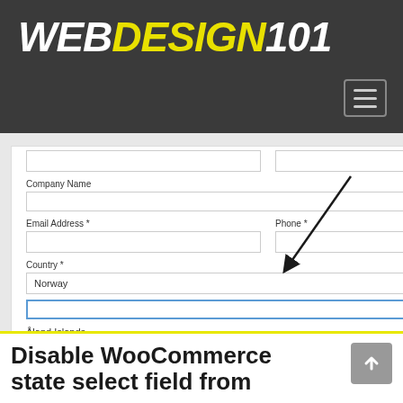WEBDESIGN101
[Figure (screenshot): WooCommerce checkout form showing Company Name, Email Address, Phone fields, Country dropdown set to Norway with open searchable country list showing Åland Islands, Afghanistan, Albania. Right sidebar shows order summary with Subtotal, Shipping, Total, Cheque Payment and PayPal options, and Place Order button. A black arrow annotation points to the Country dropdown.]
Disable WooCommerce state select field from